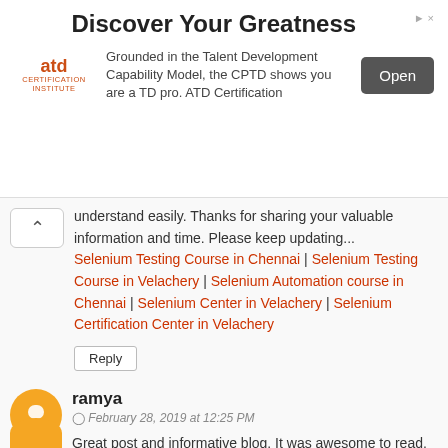[Figure (other): ATD Certification Institute advertisement banner with title 'Discover Your Greatness', ATD logo, description text, and Open button]
understand easily. Thanks for sharing your valuable information and time. Please keep updating...
Selenium Testing Course in Chennai | Selenium Testing Course in Velachery | Selenium Automation course in Chennai | Selenium Center in Velachery | Selenium Certification Center in Velachery
Reply
ramya
February 28, 2019 at 12:25 PM
Great post and informative blog. It was awesome to read, thanks for sharing this great content to my vision.
Blue prism Training in Velachery | Blue prism Training in Tambaram | Blue prism Exams in Chennai | Blue prism Certifications in Chennai
Reply